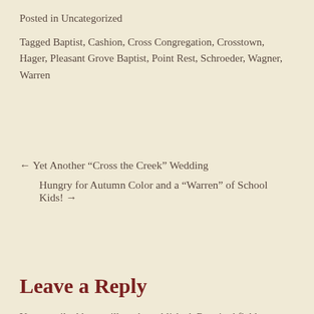Posted in Uncategorized
Tagged Baptist, Cashion, Cross Congregation, Crosstown, Hager, Pleasant Grove Baptist, Point Rest, Schroeder, Wagner, Warren
← Yet Another “Cross the Creek” Wedding
Hungry for Autumn Color and a “Warren” of School Kids! →
Leave a Reply
Your email address will not be published. Required fields are